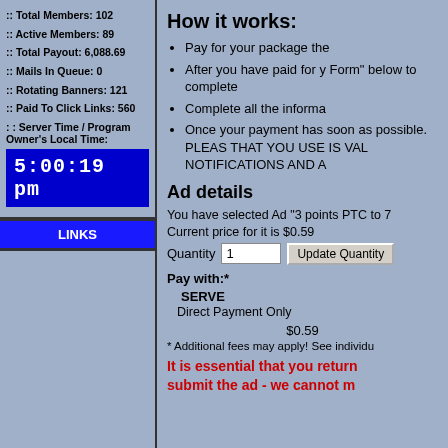:: Total Members: 102
:: Active Members: 89
:: Total Payout: 6,088.69
:: Mails In Queue: 0
:: Rotating Banners: 121
:: Paid To Click Links: 560
: : Server Time / Program Owner's Local Time:
5:00:19 pm
LINKS
How it works:
Pay for your package the
After you have paid for y Form" below to complete
Complete all the informa
Once your payment has soon as possible. PLEAS THAT YOU USE IS VAL NOTIFICATIONS AND A
Ad details
You have selected Ad "3 points PTC to 7
Current price for it is $0.59
Quantity 1  Update Quantity
Pay with:*
SERVE
Direct Payment Only
$0.59
* Additional fees may apply! See individu
It is essential that you return submit the ad - we cannot m